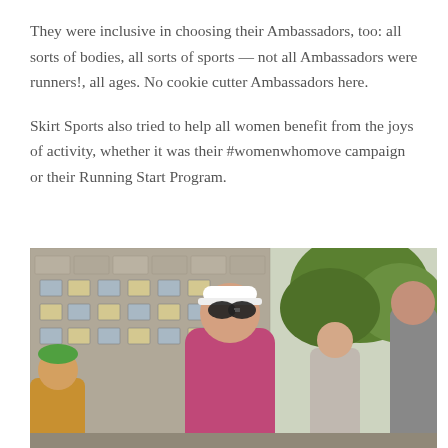They were inclusive in choosing their Ambassadors, too: all sorts of bodies, all sorts of sports — not all Ambassadors were runners!, all ages. No cookie cutter Ambassadors here.
Skirt Sports also tried to help all women benefit from the joys of activity, whether it was their #womenwhomove campaign or their Running Start Program.
[Figure (photo): A woman wearing a white visor and sunglasses in a pink/magenta athletic top, smiling, standing outdoors in front of a stone building with trees visible. Other people are partially visible around her.]